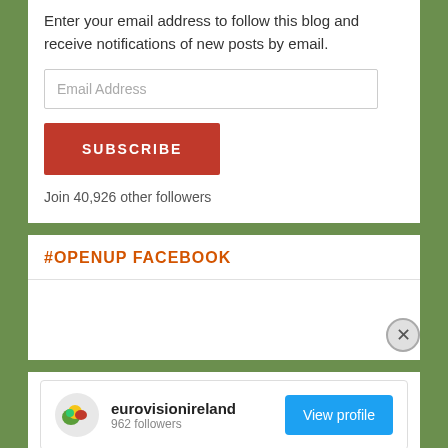Enter your email address to follow this blog and receive notifications of new posts by email.
Email Address
SUBSCRIBE
Join 40,926 other followers
#OPENUP FACEBOOK
eurovisionireland
View profile
Advertisements
Search, browse, and email with more privacy. All in One Free App